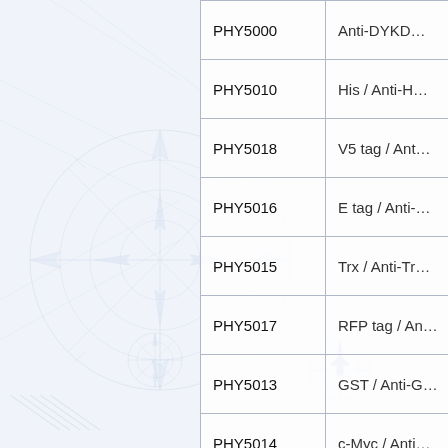| Product Code | Description |
| --- | --- |
| PHY5000 | Anti-DYKD… |
| PHY5010 | His / Anti-H… |
| PHY5018 | V5 tag / Ant… |
| PHY5016 | E tag / Anti-… |
| PHY5015 | Trx / Anti-Tr… |
| PHY5017 | RFP tag / An… |
| PHY5013 | GST / Anti-G… |
| PHY5014 | c-Myc / Anti… |
| PHY5012 | Anti-… |
| PHY5011 | HA / Anti-H… |